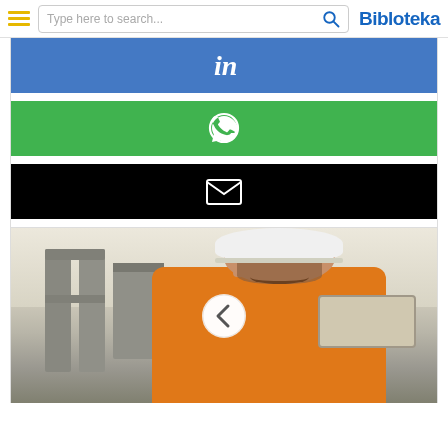Type here to search... | Bibloteka
[Figure (screenshot): LinkedIn share button - blue background with white LinkedIn 'in' icon]
[Figure (screenshot): WhatsApp share button - green background with white WhatsApp icon]
[Figure (screenshot): Email share button - black background with white envelope icon]
[Figure (photo): Construction worker smiling, wearing orange safety vest and white hard hat, holding a tablet, with concrete structure in background. Carousel navigation arrow visible.]